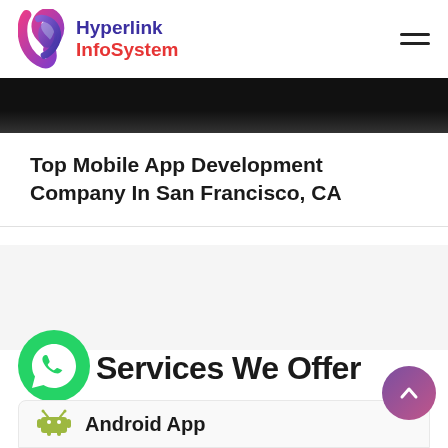[Figure (logo): Hyperlink InfoSystem logo with swirl icon in pink/purple and company name in purple and red]
[Figure (illustration): Dark/black banner image at top of page content area]
Top Mobile App Development Company In San Francisco, CA
[Figure (illustration): Light gray whitespace/ad area]
Services We Offer
[Figure (illustration): Green WhatsApp floating chat button icon]
[Figure (illustration): Purple/pink scroll-to-top button with chevron up arrow]
Android App